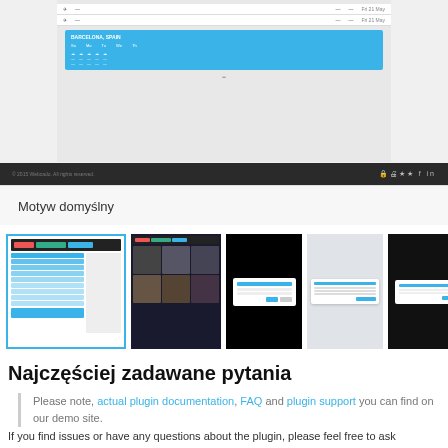[Figure (screenshot): Screenshot of a weather plugin interface showing a table with flight/weather rows and a blue weather widget with icons, with a dark footer bar below]
Motyw domyślny
[Figure (screenshot): Row of 5 thumbnail screenshots showing different themes/views of the plugin]
Najczęściej zadawane pytania
Please note, actual plugin documentation, FAQ and plugin support you can find on our demo site.
If you find issues or have any questions about the plugin, please feel free to ask questions: